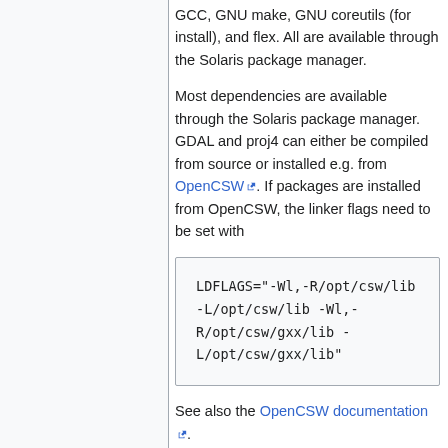GCC, GNU make, GNU coreutils (for install), and flex. All are available through the Solaris package manager.
Most dependencies are available through the Solaris package manager. GDAL and proj4 can either be compiled from source or installed e.g. from OpenCSW. If packages are installed from OpenCSW, the linker flags need to be set with
LDFLAGS="-Wl,-R/opt/csw/lib -L/opt/csw/lib -Wl,-R/opt/csw/gxx/lib -L/opt/csw/gxx/lib"
See also the OpenCSW documentation.